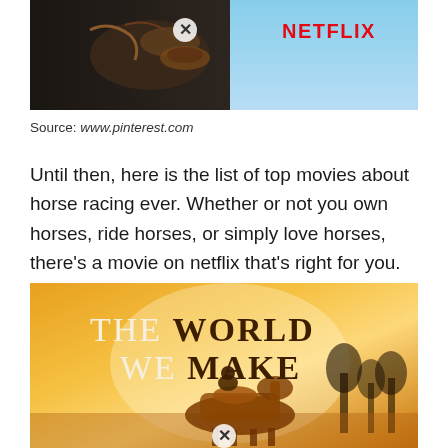[Figure (screenshot): Top portion of a movie/show promotional image showing a dark horse with saddle, a Netflix logo in red in the top right corner, blue sky in background, and a close/X button overlay on the image]
Source: www.pinterest.com
Until then, here is the list of top movies about horse racing ever. Whether or not you own horses, ride horses, or simply love horses, there's a movie on netflix that's right for you.
[Figure (screenshot): Movie poster for 'The World We Make' showing a person on a horse in a golden/warm-toned setting with trees in background. Title text shows 'THE WORLD WE MAKE' with bold styling. A close/X button overlay is at the bottom.]